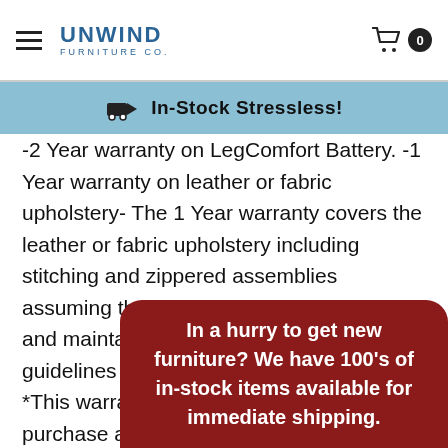Unwind Furniture Co.
In-Stock Stressless!
-2 Year warranty on LegComfort Battery. -1 Year warranty on leather or fabric upholstery- The 1 Year warranty covers the leather or fabric upholstery including stitching and zippered assemblies assuming that the product has been cared and maintained using Ekornes approved guidelines for maintaining leather furniture. *This warranty only protects you when you purchase an Ekornes product from a... Comp... applie...
In a hurry to get new furniture? We have 100's of in-stock items available for immediate shipping.